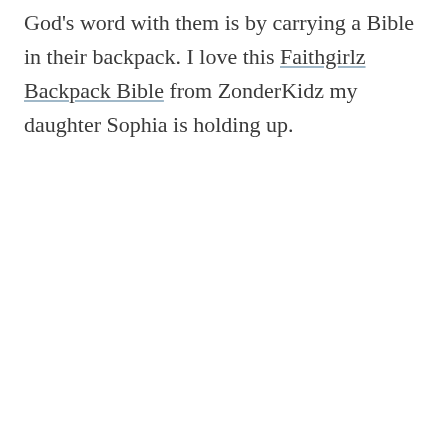God's word with them is by carrying a Bible in their backpack. I love this Faithgirlz Backpack Bible from ZonderKidz my daughter Sophia is holding up.